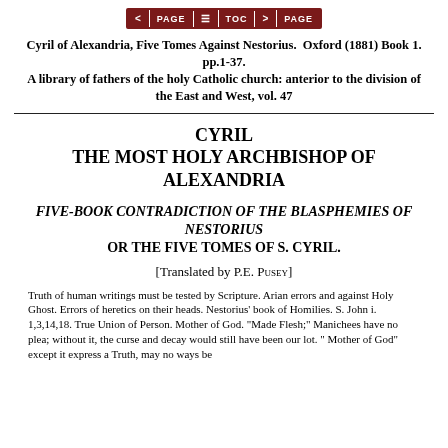< PAGE  TOC  > PAGE
Cyril of Alexandria, Five Tomes Against Nestorius. Oxford (1881) Book 1. pp.1-37.
A library of fathers of the holy Catholic church: anterior to the division of the East and West, vol. 47
CYRIL
THE MOST HOLY ARCHBISHOP OF ALEXANDRIA
FIVE-BOOK CONTRADICTION OF THE BLASPHEMIES OF NESTORIUS
OR THE FIVE TOMES OF S. CYRIL.
[Translated by P.E. Pusey]
Truth of human writings must be tested by Scripture. Arian errors and against Holy Ghost. Errors of heretics on their heads. Nestorius' book of Homilies. S. John i. 1,3,14,18. True Union of Person. Mother of God. "Made Flesh;" Manichees have no plea; without it, the curse and decay would still have been our lot. " Mother of God" except it express a Truth, may no ways be